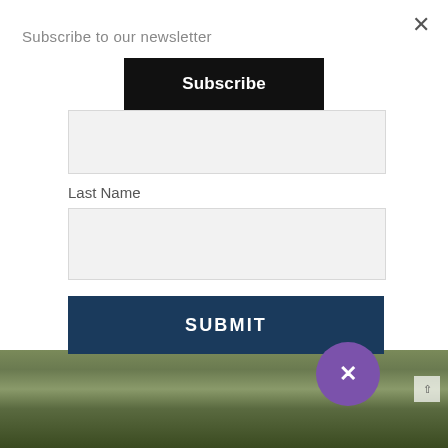Subscribe to our newsletter
Subscribe
Last Name
SUBMIT
[Figure (screenshot): Newsletter subscription modal overlay on a real estate website. White modal at top with 'Subscribe to our newsletter' heading, a black Subscribe button, partially visible first name input field, Last Name label and input field, and a dark navy SUBMIT button. Background shows a luxury residential building with greenery on the left and a city skyline on the right. A purple circular close button with X is visible at the bottom right of the modal.]